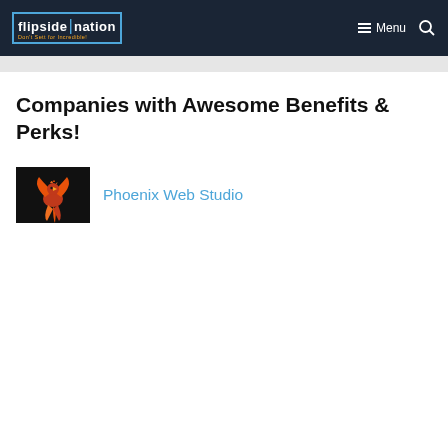flipside|nation — Menu (navigation bar with search icon)
Companies with Awesome Benefits & Perks!
[Figure (logo): Phoenix Web Studio logo — dark background with orange phoenix bird graphic]
Phoenix Web Studio